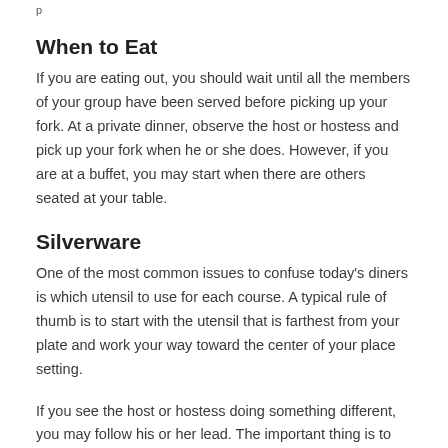When to Eat
If you are eating out, you should wait until all the members of your group have been served before picking up your fork. At a private dinner, observe the host or hostess and pick up your fork when he or she does. However, if you are at a buffet, you may start when there are others seated at your table.
Silverware
One of the most common issues to confuse today's diners is which utensil to use for each course. A typical rule of thumb is to start with the utensil that is farthest from your plate and work your way toward the center of your place setting.
If you see the host or hostess doing something different, you may follow his or her lead. The important thing is to remain